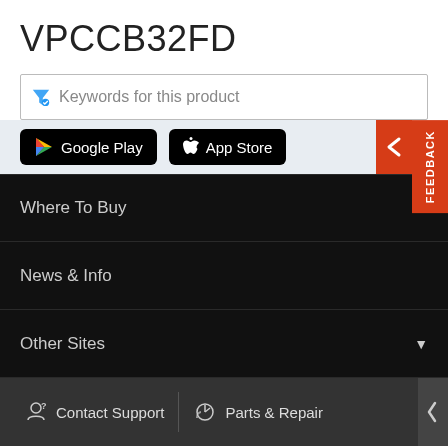VPCCB32FD
Keywords for this product
[Figure (screenshot): App store download buttons: Google Play and App Store on a light gray banner]
Where To Buy
News & Info
Other Sites
Contact Support
Parts & Repair